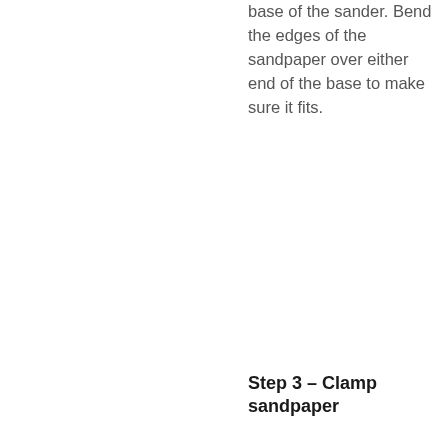base of the sander. Bend the edges of the sandpaper over either end of the base to make sure it fits.
Step 3 – Clamp sandpaper